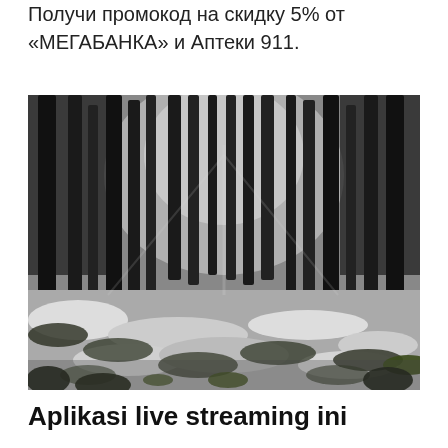Получи промокод на скидку 5% от «МЕГАБАНКА» и Аптеки 911.
[Figure (photo): Black and white forest photo with tall pine trees and snow-covered mossy ground with some green patches visible]
Aplikasi live streaming ini